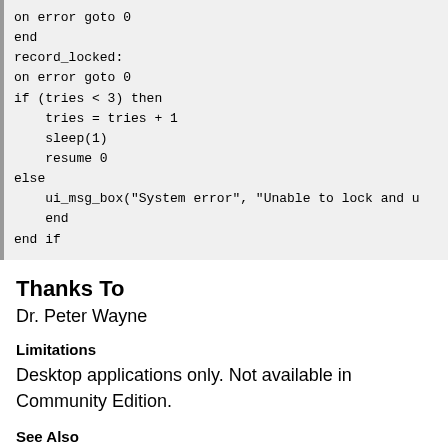[Figure (other): Code block showing error handling logic in a scripting language, with on error goto, record_locked label, if/else/end if structure, tries counter, sleep, resume, and ui_msg_box call.]
Thanks To
Dr. Peter Wayne
Limitations
Desktop applications only. Not available in Community Edition.
See Also
One to Many Links